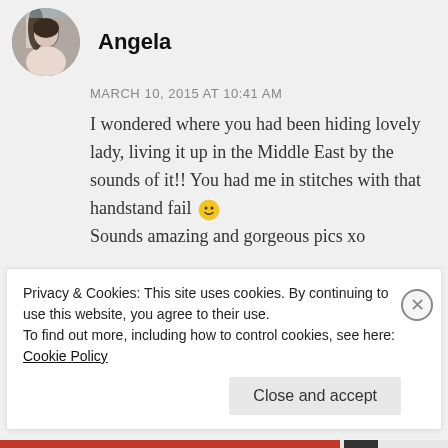[Figure (photo): Circular avatar photo of a woman with dark hair]
Angela
MARCH 10, 2015 AT 10:41 AM
I wondered where you had been hiding lovely lady, living it up in the Middle East by the sounds of it!! You had me in stitches with that handstand fail 🙂 Sounds amazing and gorgeous pics xo
★ Liked by 1 person
REPLY
Privacy & Cookies: This site uses cookies. By continuing to use this website, you agree to their use.
To find out more, including how to control cookies, see here: Cookie Policy
Close and accept